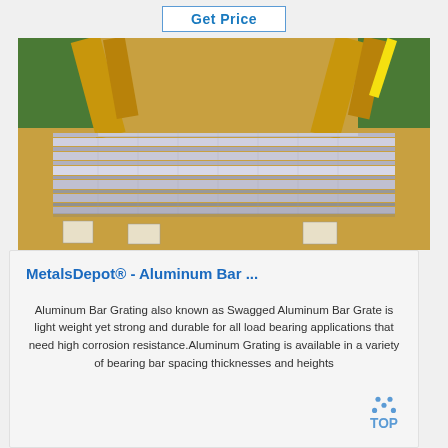Get Price
[Figure (photo): Photograph of aluminum bar grating sheets stacked and wrapped in brown paper and plastic packaging on a warehouse floor]
MetalsDepot® - Aluminum Bar ...
Aluminum Bar Grating also known as Swagged Aluminum Bar Grate is light weight yet strong and durable for all load bearing applications that need high corrosion resistance.Aluminum Grating is available in a variety of bearing bar spacing thicknesses and heights